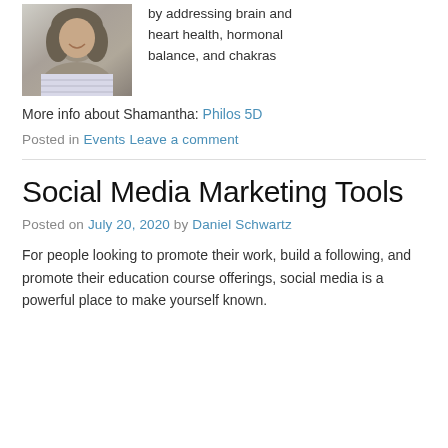[Figure (photo): Headshot photo of a woman with curly hair smiling]
by addressing brain and heart health, hormonal balance, and chakras
More info about Shamantha: Philos 5D
Posted in Events Leave a comment
Social Media Marketing Tools
Posted on July 20, 2020 by Daniel Schwartz
For people looking to promote their work, build a following, and promote their education course offerings, social media is a powerful place to make yourself known.